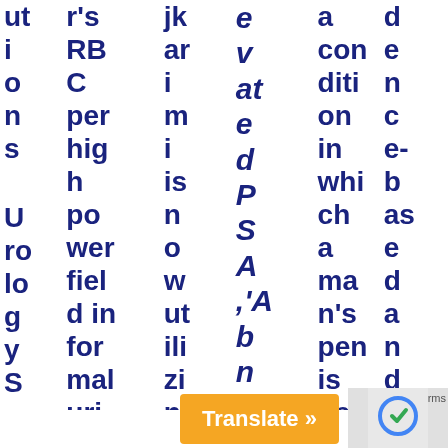utions Urology Surgical C
RBC per high power field in formal urine analysis (UA) is
jkarimis now utilizing the new
elevated PSA, 'Abnormal di
a condition in which a man's penis becomes curved
de- nce- base ad and effect ive